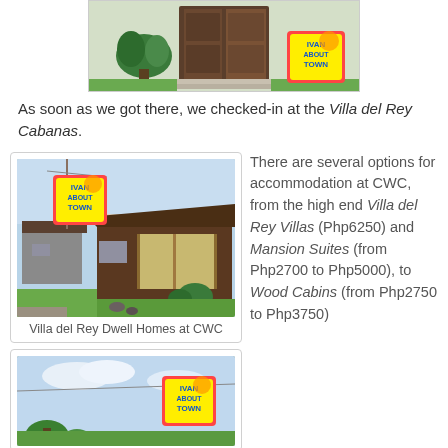[Figure (photo): Top photo of a villa entrance with dark wooden door and palm plants, with Ivan About Town logo badge overlay]
As soon as we got there, we checked-in at the Villa del Rey Cabanas.
[Figure (photo): Photo of Villa del Rey Dwell Homes at CWC - low-rise cabana style buildings with dark wood exterior and landscaped grounds, Ivan About Town logo badge]
Villa del Rey Dwell Homes at CWC
[Figure (photo): Bottom partial photo of another villa view with Ivan About Town logo badge]
There are several options for accommodation at CWC, from the high end Villa del Rey Villas (Php6250) and Mansion Suites (from Php2700 to Php5000), to Wood Cabins (from Php2750 to Php3750)